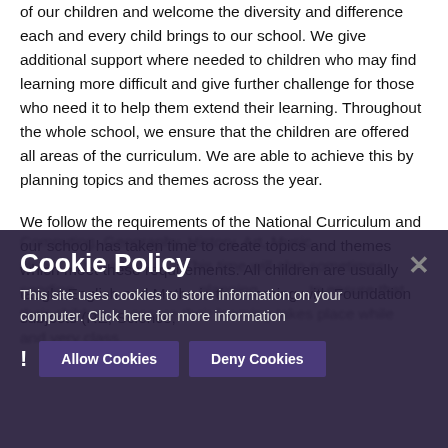of our children and welcome the diversity and difference each and every child brings to our school. We give additional support where needed to children who may find learning more difficult and give further challenge for those who need it to help them extend their learning. Throughout the whole school, we ensure that the children are offered all areas of the curriculum. We are able to achieve this by planning topics and themes across the year.
We follow the requirements of the National Curriculum and our school has taken time to create topics and themes which meet these requirements. All children are usually taught English and Maths in the morning with Foundation subjects (RE, Science, Computing, Geography, History, Art, Music taught in the afternoon. This time will also sometimes include taught in the afternoon. This time will also sometimes include sending... planning... to ensure their learning takes place while their children to ensure their learning takes place while and very class.
Cookie Policy
This site uses cookies to store information on your computer. Click here for more information
Allow Cookies   Deny Cookies